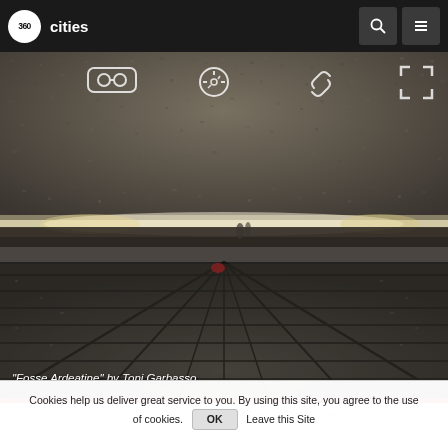360cities
[Figure (photo): 360-degree panoramic view of Fosse Ardeatine historical site by Toni Garbasso. The image shows an interior/exterior view with textured stone ceiling above and rows of burial spaces below, with a bright horizon line in the middle. Overlay icons for VR/Cardboard view, compass, link, and fullscreen are visible at the top of the image.]
"Fosse Ardeatine" by Toni Garbasso
Cookies help us deliver great service to you. By using this site, you agree to the use of cookies.
OK   Leave this Site